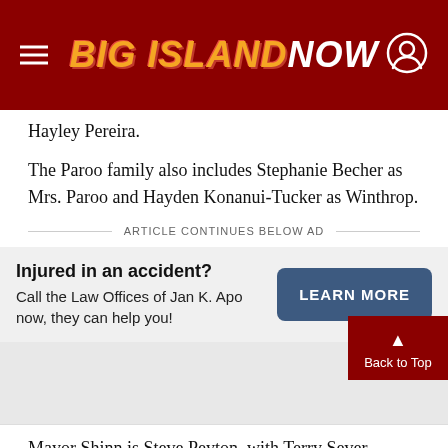Big Island Now
Hayley Pereira.
The Paroo family also includes Stephanie Becher as Mrs. Paroo and Hayden Konanui-Tucker as Winthrop.
ARTICLE CONTINUES BELOW AD
Injured in an accident? Call the Law Offices of Jan K. Apo now, they can help you!
Mayor Shinn is Steve Peyton, with Terry Sever